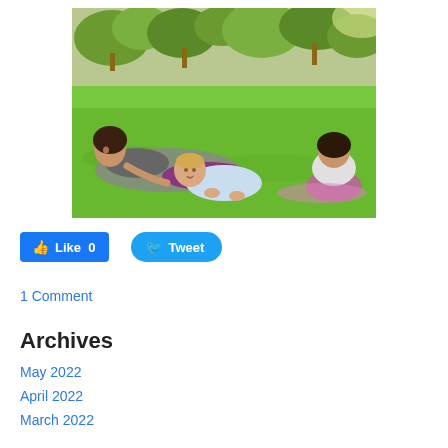[Figure (photo): A woman lying on grass in a park smiling at a baby who is also lying on the grass. Another person is visible in the background on the right.]
Like 0
Tweet
1 Comment
Archives
May 2022
April 2022
March 2022